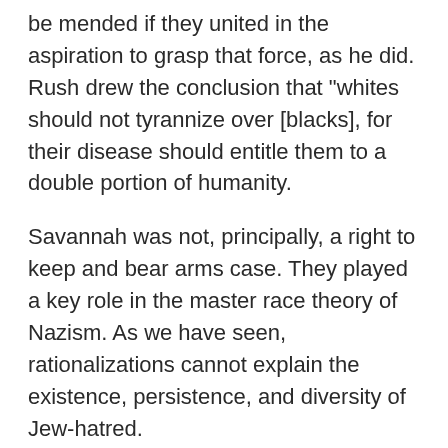be mended if they united in the aspiration to grasp that force, as he did. Rush drew the conclusion that "whites should not tyrannize over [blacks], for their disease should entitle them to a double portion of humanity.
Savannah was not, principally, a right to keep and bear arms case. They played a key role in the master race theory of Nazism. As we have seen, rationalizations cannot explain the existence, persistence, and diversity of Jew-hatred.
State about "the right of the people," really only meant white people. And he particularly appreciates certain virtues that have little directly to do with empathy, virtues such as competence, honesty, professionalism, and respect.
And the more pain there is, the more the anger will turn on the... Consider when certain relationships...